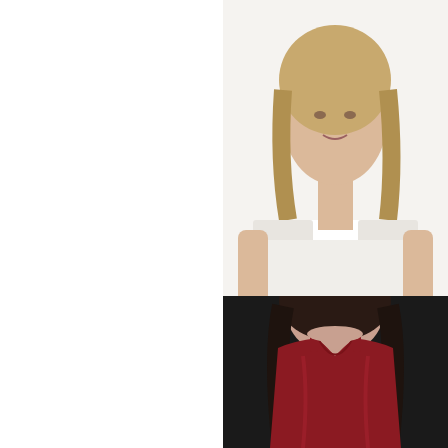[Figure (photo): Woman wearing a white short-sleeve loose top with light gray shorts, standing against white background, upper body visible, blonde hair]
PJ Harlow Roxxy T
Our Price: $64
[Figure (photo): Woman wearing a deep red/burgundy satin camisole top with V-neckline, dark hair, upper body visible]